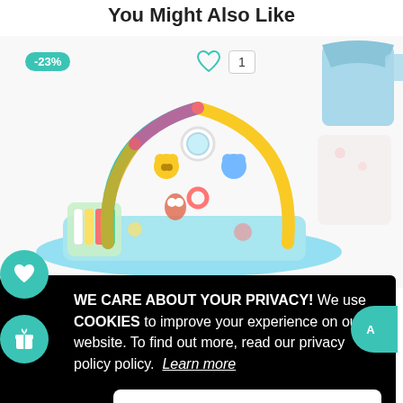You Might Also Like
[Figure (photo): Baby activity gym/play mat with colorful arch, hanging toys including bears and rings, and piano keys on the left side. A -23% discount badge is shown in teal at top left. A heart icon and '1' count badge are visible at top center.]
[Figure (photo): Partial view of baby onesies/bodysuits in light blue and white/pink colors, visible at the right edge of the page.]
WE CARE ABOUT YOUR PRIVACY! We use COOKIES to improve your experience on our website. To find out more, read our privacy policy policy.  Learn more
Decline
Allow Cookies